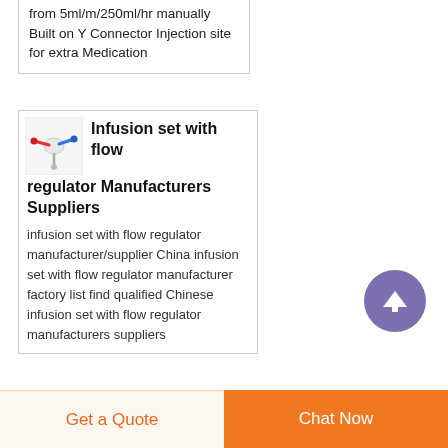from 5ml/m/250ml/hr manually Built on Y Connector Injection site for extra Medication
[Figure (photo): Small product thumbnail of an infusion set with flow regulator, showing red and blue tubing connectors on white background]
Infusion set with flow regulator Manufacturers Suppliers
infusion set with flow regulator manufacturer/supplier China infusion set with flow regulator manufacturer factory list find qualified Chinese infusion set with flow regulator manufacturers suppliers
Get a Quote
Chat Now